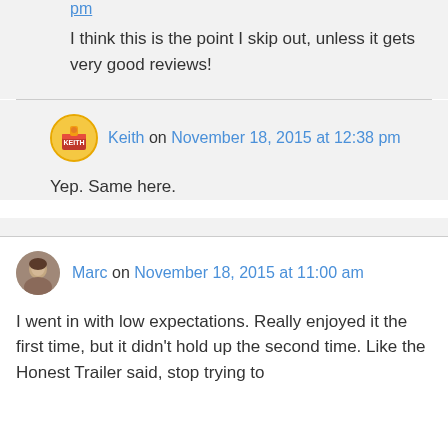pm
I think this is the point I skip out, unless it gets very good reviews!
Keith on November 18, 2015 at 12:38 pm
Yep. Same here.
Marc on November 18, 2015 at 11:00 am
I went in with low expectations. Really enjoyed it the first time, but it didn't hold up the second time. Like the Honest Trailer said, stop trying to